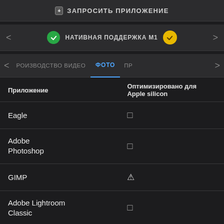+ ЗАПРОСИТЬ ПРИЛОЖЕНИЕ
НАТИВНАЯ ПОДДЕРЖКА М1
РОИЗВОДСТВО ВИДЕО  ФОТО  ПР
| Приложение | Оптимизировано для Apple silicon |
| --- | --- |
| Eagle | □ |
| Adobe Photoshop | □ |
| GIMP | △ |
| Adobe Lightroom Classic | □ |
| Photo Mechanic | □ |